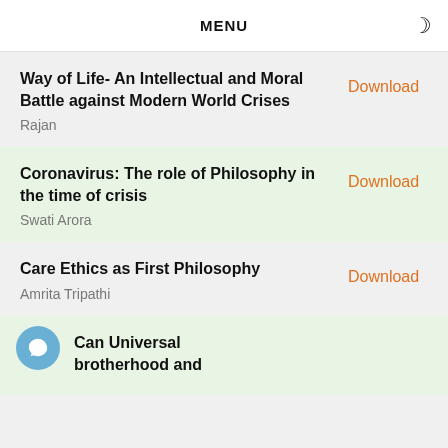MENU
Way of Life- An Intellectual and Moral Battle against Modern World Crises
Rajan
Download
Coronavirus: The role of Philosophy in the time of crisis
Swati Arora
Download
Care Ethics as First Philosophy
Amrita Tripathi
Download
Can Universal brotherhood and